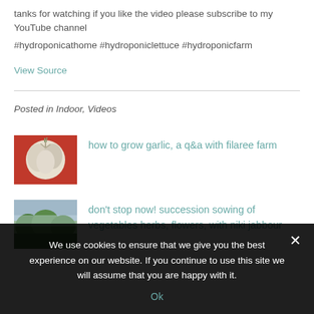tanks for watching if you like the video please subscribe to my YouTube channel
#hydroponicathome #hydroponiclettuce #hydroponicfarm
View Source
Posted in Indoor, Videos
[Figure (photo): Photo of garlic bulbs on a red/pink surface]
how to grow garlic, a q&a with filaree farm
[Figure (photo): Photo of green trees/vegetation with mist or fog]
don't stop now! succession sowing of vegetables herbs, flowers, with niki jabbour
We use cookies to ensure that we give you the best experience on our website. If you continue to use this site we will assume that you are happy with it.
Ok